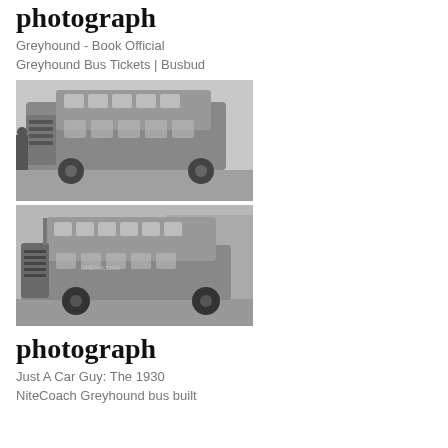photograph
Greyhound - Book Official
Greyhound Bus Tickets | Busbud
[Figure (photo): Black and white photograph of a vintage Greyhound double-decker bus from the front-side angle, parked outdoors.]
[Figure (photo): Black and white photograph of a vintage NiteCoach Greyhound bus from the front-side angle, parked outdoors.]
photograph
Just A Car Guy: The 1930
NiteCoach Greyhound bus built